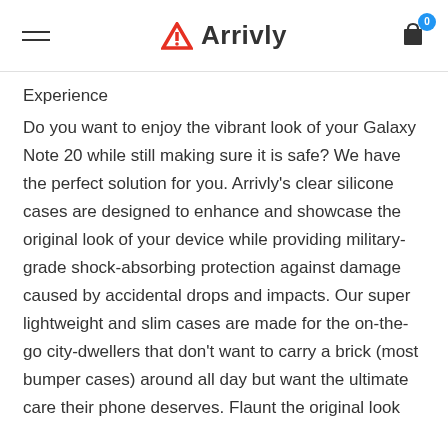Arrivly
Experience
Do you want to enjoy the vibrant look of your Galaxy Note 20 while still making sure it is safe? We have the perfect solution for you. Arrivly's clear silicone cases are designed to enhance and showcase the original look of your device while providing military-grade shock-absorbing protection against damage caused by accidental drops and impacts. Our super lightweight and slim cases are made for the on-the-go city-dwellers that don't want to carry a brick (most bumper cases) around all day but want the ultimate care their phone deserves. Flaunt the original look